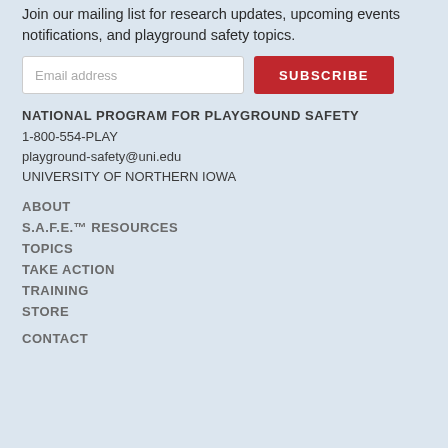Join our mailing list for research updates, upcoming events notifications, and playground safety topics.
Email address | SUBSCRIBE
NATIONAL PROGRAM FOR PLAYGROUND SAFETY
1-800-554-PLAY
playground-safety@uni.edu
UNIVERSITY OF NORTHERN IOWA
ABOUT
S.A.F.E.™ RESOURCES
TOPICS
TAKE ACTION
TRAINING
STORE
CONTACT